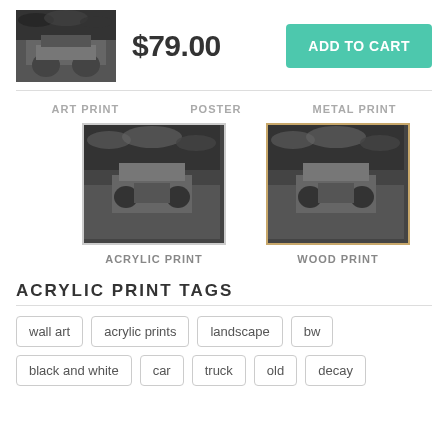[Figure (photo): Black and white photo thumbnail of an old abandoned car/truck in a landscape with dramatic clouds]
$79.00
ADD TO CART
ART PRINT
POSTER
METAL PRINT
[Figure (photo): Acrylic print thumbnail - black and white photo of abandoned truck]
ACRYLIC PRINT
[Figure (photo): Wood print thumbnail - black and white photo of abandoned truck]
WOOD PRINT
ACRYLIC PRINT TAGS
wall art
acrylic prints
landscape
bw
black and white
car
truck
old
decay